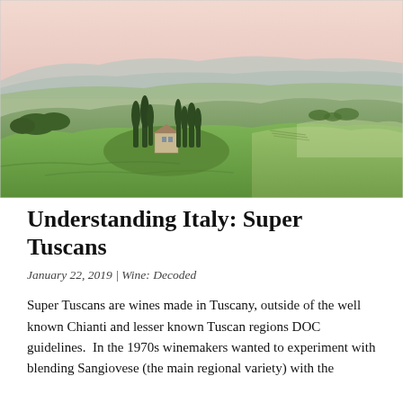[Figure (photo): Aerial landscape photograph of Tuscany, Italy. Rolling green hills with cypress trees, a stone farmhouse surrounded by tall dark cypress trees in the center-left, layered blue-grey mountains in the background under a pale pink and blue sky at dawn or dusk.]
Understanding Italy: Super Tuscans
January 22, 2019 | Wine: Decoded
Super Tuscans are wines made in Tuscany, outside of the well known Chianti and lesser known Tuscan regions DOC guidelines.  In the 1970s winemakers wanted to experiment with blending Sangiovese (the main regional variety) with the